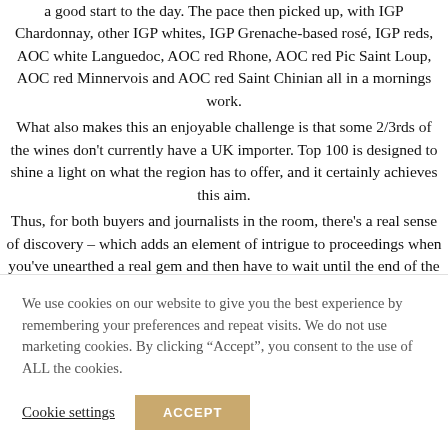a good start to the day. The pace then picked up, with IGP Chardonnay, other IGP whites, IGP Grenache-based rosé, IGP reds, AOC white Languedoc, AOC red Rhone, AOC red Pic Saint Loup, AOC red Minnervois and AOC red Saint Chinian all in a mornings work.
What also makes this an enjoyable challenge is that some 2/3rds of the wines don't currently have a UK importer. Top 100 is designed to shine a light on what the region has to offer, and it certainly achieves this aim.
Thus, for both buyers and journalists in the room, there's a real sense of discovery – which adds an element of intrigue to proceedings when you've unearthed a real gem and then have to wait until the end of the day to find out what is was that knocked you out (in a good way).
We use cookies on our website to give you the best experience by remembering your preferences and repeat visits. We do not use marketing cookies. By clicking "Accept", you consent to the use of ALL the cookies.
Cookie settings
ACCEPT